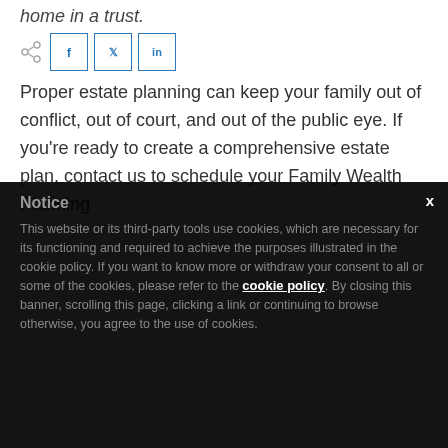home in a trust.
[Figure (other): Social share icons: share, Facebook, Twitter, LinkedIn]
Proper estate planning can keep your family out of conflict, out of court, and out of the public eye. If you’re ready to create a comprehensive estate plan, contact us to schedule your Family Wealth Planning
Notice
This website or its third-party tools use cookies, which are necessary for its functioning and required to achieve the purposes illustrated in the cookie policy. If you want to know more or withdraw your consent to all or some of the cookies, please refer to the cookie policy. By closing this banner, scrolling this page, clicking a link or continuing to browse otherwise, you agree to the use of cookies.